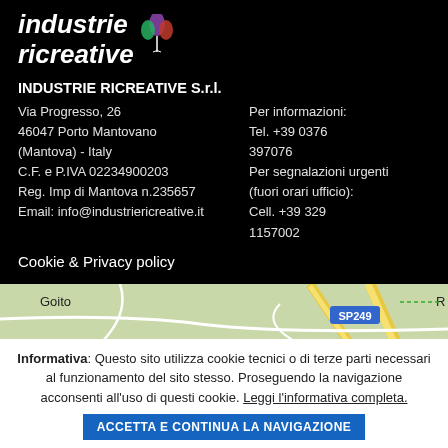[Figure (logo): Industrie Ricreative logo with italic bold text and a leaf/balloon icon]
INDUSTRIE RICREATIVE S.r.l.
Via Progresso, 26
46047 Porto Mantovano
(Mantova) - Italy
C.F. e P.IVA 02234900203
Reg. Imp di Mantova n.235657
Email: info@industriericreative.it
Per informazioni:
Tel. +39 0376 397076
Per segnalazioni urgenti
(fuori orari ufficio):
Cell. +39 329 1157002
Cookie & Privacy policy
[Figure (map): Road map showing area around Porto Mantovano with roads SP249, SP236, SS62 and locality Goito visible]
Informativa: Questo sito utilizza cookie tecnici o di terze parti necessari al funzionamento del sito stesso. Proseguendo la navigazione acconsenti all'uso di questi cookie. Leggi l'informativa completa. ACCETTA E CONTINUA LA NAVIGAZIONE